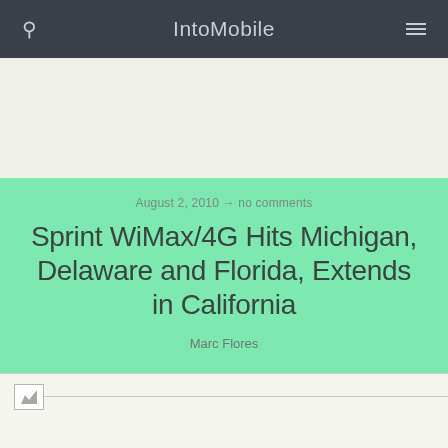IntoMobile
August 2, 2010 → no comments
Sprint WiMax/4G Hits Michigan, Delaware and Florida, Extends in California
Marc Flores
[Figure (photo): Broken image placeholder at top of article]